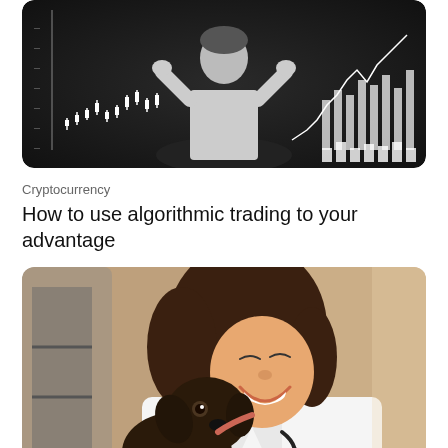[Figure (photo): Person sitting with back to camera looking at financial charts and graphs on a dark background, with candlestick and line charts visible]
Cryptocurrency
How to use algorithmic trading to your advantage
[Figure (photo): A smiling woman in white lab coat with stethoscope, a veterinarian, with a dark brown puppy nuzzling her face]
Health & Fitness